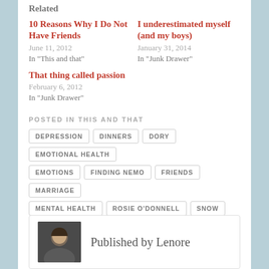Related
10 Reasons Why I Do Not Have Friends
June 11, 2012
In "This and that"
I underestimated myself (and my boys)
January 31, 2014
In "Junk Drawer"
That thing called passion
February 6, 2012
In "Junk Drawer"
POSTED IN THIS AND THAT
DEPRESSION
DINNERS
DORY
EMOTIONAL HEALTH
EMOTIONS
FINDING NEMO
FRIENDS
MARRIAGE
MENTAL HEALTH
ROSIE O'DONNELL
SNOW
Published by Lenore